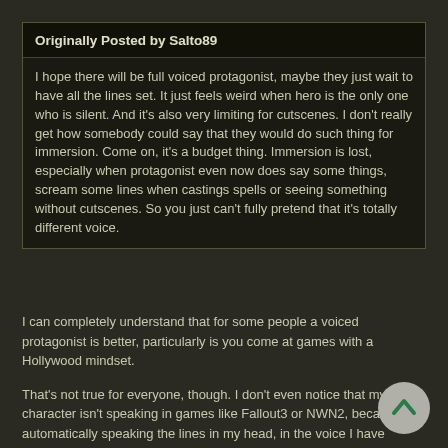Originally Posted by Salto89
I hope there will be full voiced protagonist, maybe they just wait to have all the lines set. It just feels weird when hero is the only one who is silent. And it's also very limiting for cutscenes. I don't really get how somebody could say that they would do such thing for immersion. Come on, it's a budget thing. Immersion is lost, especially when protagonist even now does say some things, scream some lines when castings spells or seeing something without cutscenes. So you just can't fully pretend that it's totally different voice.
I can completely understand that for some people a voiced protagonist is better, particularly is you come at games with a Hollywood mindset.
That's not true for everyone, though. I don't even notice that my character isn't speaking in games like Fallout3 or NWN2, because I'm automatically speaking the lines in my head, in the voice I have assigned to my character. Sometimes I will even play out alternate conversations in my head that are not even in the game! Different types of imagination, I guess.
This is preferable for me to spending an entire game trying to accept